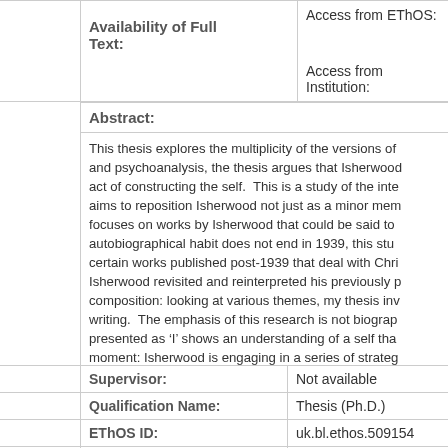| Field | Value |
| --- | --- |
| Availability of Full Text: | Access from EThOS:
Access from Institution: |
Abstract:
This thesis explores the multiplicity of the versions of and psychoanalysis, the thesis argues that Isherwood act of constructing the self. This is a study of the inte aims to reposition Isherwood not just as a minor mem focuses on works by Isherwood that could be said to autobiographical habit does not end in 1939, this stu certain works published post-1939 that deal with Chri Isherwood revisited and reinterpreted his previously p composition: looking at various themes, my thesis inv writing. The emphasis of this research is not biograp presented as 'I' shows an understanding of a self tha moment: Isherwood is engaging in a series of strateg presenting a self, a self that is under constant review
| Field | Value |
| --- | --- |
| Supervisor: | Not available |
| Qualification Name: | Thesis (Ph.D.) |
| EThOS ID: | uk.bl.ethos.509154 |
| Keywords: | Authors + Autobiographi... |